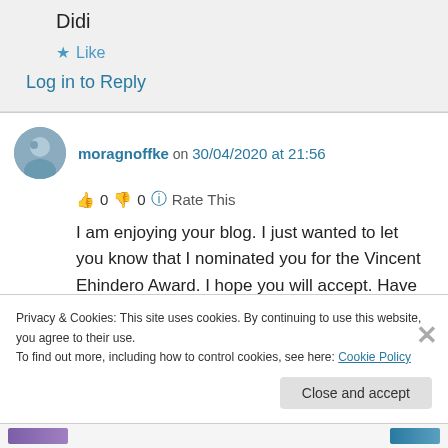Didi
★ Like
Log in to Reply
moragnoffke on 30/04/2020 at 21:56
👍 0 👎 0 🔵 Rate This
I am enjoying your blog. I just wanted to let you know that I nominated you for the Vincent Ehindero Award. I hope you will accept. Have a
Privacy & Cookies: This site uses cookies. By continuing to use this website, you agree to their use. To find out more, including how to control cookies, see here: Cookie Policy
Close and accept